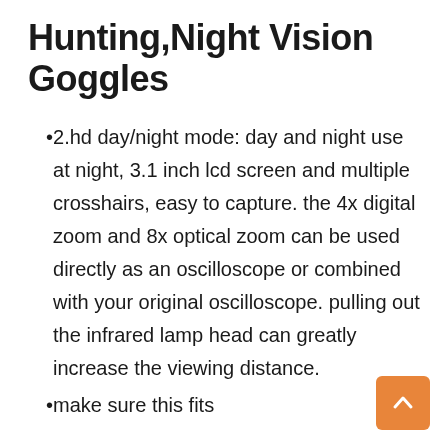Hunting,Night Vision Goggles
2.hd day/night mode: day and night use at night, 3.1 inch lcd screen and multiple crosshairs, easy to capture. the 4x digital zoom and 8x optical zoom can be used directly as an oscilloscope or combined with your original oscilloscope. pulling out the infrared lamp head can greatly increase the viewing distance.
make sure this fits